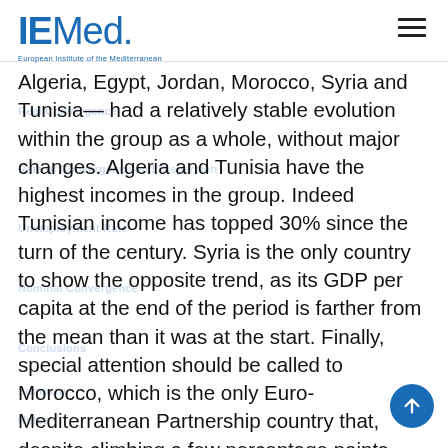IEMed. European Institute of the Mediterranean
Algeria, Egypt, Jordan, Morocco, Syria and Tunisia— had a relatively stable evolution within the group as a whole, without major changes. Algeria and Tunisia have the highest incomes in the group. Indeed Tunisian income has topped 30% since the turn of the century. Syria is the only country to show the opposite trend, as its GDP per capita at the end of the period is farther from the mean than it was at the start. Finally, special attention should be called to Morocco, which is the only Euro-Mediterranean Partnership country that, despite climbing a few percentage points over the period, by 2007 still had not reached 20% of the mean GDP per capita of the group as a whole.